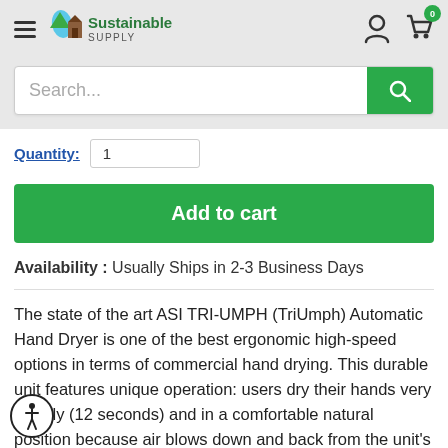[Figure (logo): Sustainable Supply logo with green leaf/water drop and brown house icon, green and brown text]
Search...
Quantity:
Add to cart
Availability : Usually Ships in 2-3 Business Days
The state of the art ASI TRI-UMPH (TriUmph) Automatic Hand Dryer is one of the best ergonomic high-speed options in terms of commercial hand drying. This durable unit features unique operation: users dry their hands very quickly (12 seconds) and in a comfortable natural position because air blows down and back from the unit's vents on the sides